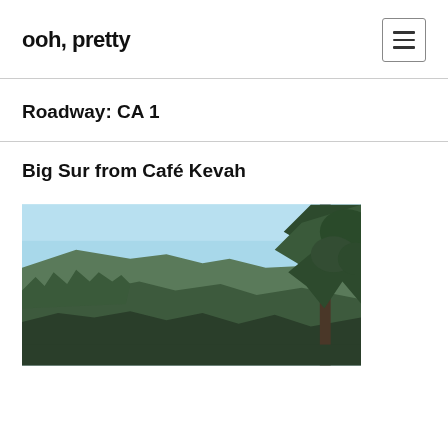ooh, pretty
Roadway: CA 1
Big Sur from Café Kevah
[Figure (photo): Scenic coastal view of Big Sur showing hillside with trees on the right, ocean and fog bank in the distance, blue sky above, taken from Café Kevah vantage point.]